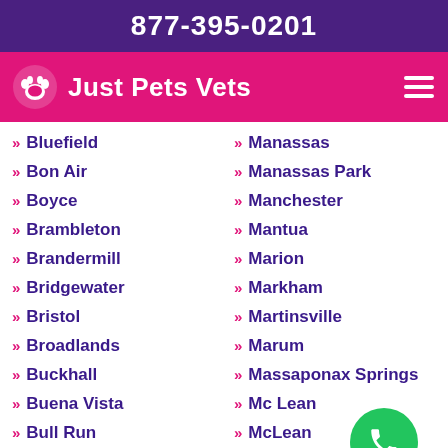877-395-0201
Just Pets Vets
Bluefield
Bon Air
Boyce
Brambleton
Brandermill
Bridgewater
Bristol
Broadlands
Buckhall
Buena Vista
Bull Run
Burke
Manassas
Manassas Park
Manchester
Mantua
Marion
Markham
Martinsville
Marum
Massaponax Springs
Mc Lean
McLean
McNair